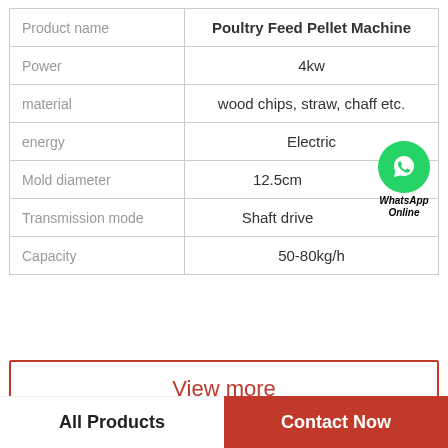|  |  |
| --- | --- |
| Product name | Poultry Feed Pellet Machine |
| Power | 4kw |
| material | wood chips, straw, chaff etc. |
| energy | Electric |
| Mold diameter | 12.5cm |
| Transmission mode | Shaft drive |
| Capacity | 50-80kg/h |
View more
All Products
Contact Now